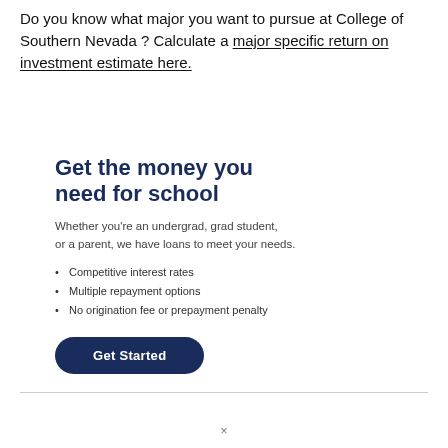Do you know what major you want to pursue at College of Southern Nevada ? Calculate a major specific return on investment estimate here.
Get the money you need for school
Whether you're an undergrad, grad student, or a parent, we have loans to meet your needs.
Competitive interest rates
Multiple repayment options
No origination fee or prepayment penalty
Get Started